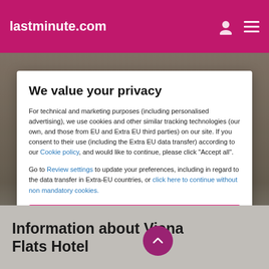lastminute.com
We value your privacy
For technical and marketing purposes (including personalised advertising), we use cookies and other similar tracking technologies (our own, and those from EU and Extra EU third parties) on our site. If you consent to their use (including the Extra EU data transfer) according to our Cookie policy, and would like to continue, please click "Accept all".
Go to Review settings to update your preferences, including in regard to the data transfer in Extra-EU countries, or click here to continue without non mandatory cookies.
ACCEPT ALL
Information about Viena Flats Hotel